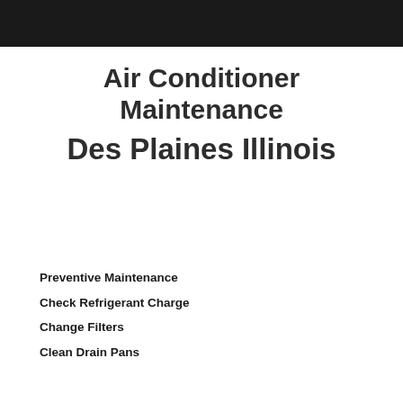Air Conditioner Maintenance Des Plaines Illinois
Preventive Maintenance
Check Refrigerant Charge
Change Filters
Clean Drain Pans